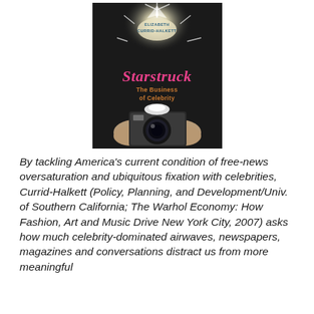[Figure (illustration): Book cover of 'Starstruck: The Business of Celebrity' by Elizabeth Currid-Halkett. Dark background with a bright starburst light effect, hands holding a camera at the bottom, title in pink cursive 'Starstruck' with subtitle 'The Business of Celebrity' in orange text, author name at top.]
By tackling America's current condition of free-news oversaturation and ubiquitous fixation with celebrities, Currid-Halkett (Policy, Planning, and Development/Univ. of Southern California; The Warhol Economy: How Fashion, Art and Music Drive New York City, 2007) asks how much celebrity-dominated airwaves, newspapers, magazines and conversations distract us from more meaningful